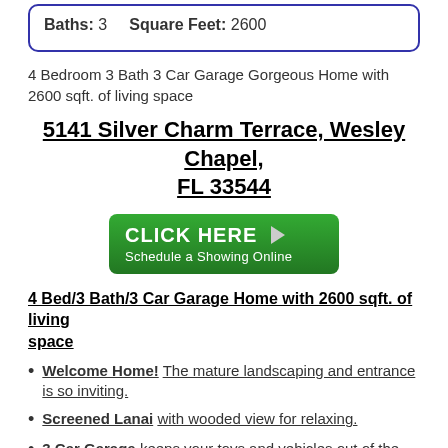Baths: 3    Square Feet: 2600
4 Bedroom 3 Bath 3 Car Garage Gorgeous Home with 2600 sqft. of living space
5141 Silver Charm Terrace, Wesley Chapel, FL 33544
[Figure (other): Green button: CLICK HERE ▶ Schedule a Showing Online]
4 Bed/3 Bath/3 Car Garage Home with 2600 sqft. of living space
Welcome Home! The mature landscaping and entrance is so inviting.
Screened Lanai with wooded view for relaxing.
3 Car Garage keeps your toys and vehicles out of the sun and rain.